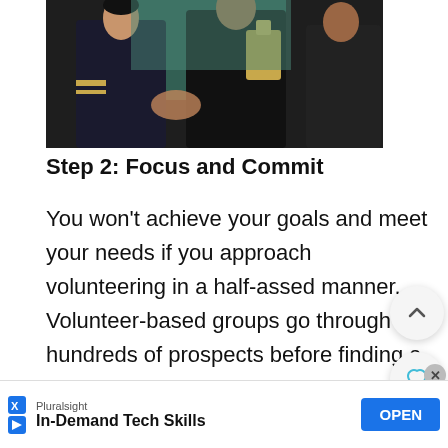[Figure (photo): Two people in dark clothing shaking hands at an event; one wears a naval/military-style uniform with gold braid on the sleeve. A third person is partially visible in the background.]
Step 2: Focus and Commit
You won't achieve your goals and meet your needs if you approach volunteering in a half-assed manner. Volunteer-based groups go through hundreds of prospects before finding a person that can follow directions, take whatever entry-level training they require, and show up to meetings and events as expected. Believe me, once you are assessed to be a reliable volunteer that can follow rules … p.